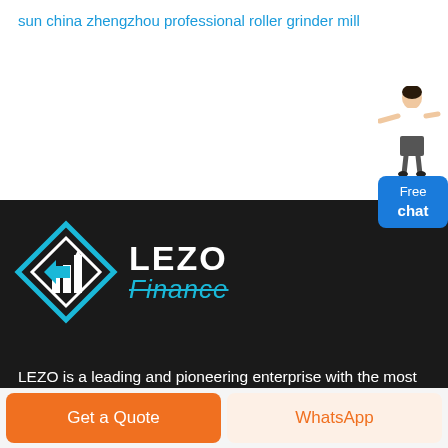sun china zhengzhou professional roller grinder mill
[Figure (illustration): Free chat widget with woman figure and blue chat button showing 'Free chat']
[Figure (logo): LEZO Finance logo with diamond/arrow shape icon in blue and white, LEZO in white bold, Finance in cyan with strikethrough, on dark background]
LEZO is a leading and pioneering enterprise with the most advanced international level in R&D,
Get a Quote
WhatsApp